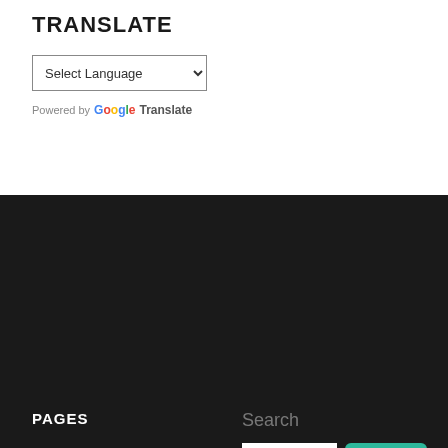TRANSLATE
Select Language (dropdown)
Powered by Google Translate
PAGES
About
Cookbooks I Love
Cooking Classes
Favorite Quotes–Old and New
Search
Search (button)